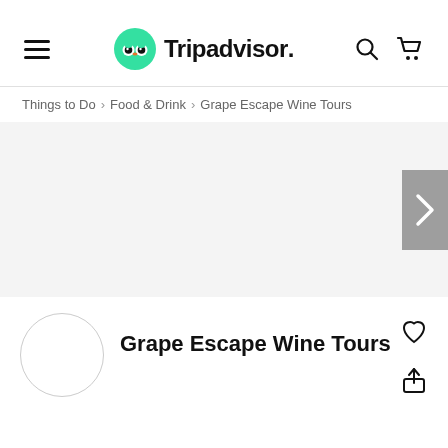[Figure (logo): Tripadvisor logo with green owl icon and hamburger menu, search icon, and cart icon in header navigation bar]
Things to Do > Food & Drink > Grape Escape Wine Tours
[Figure (photo): Large image carousel area (blank/white) with a grey next arrow button on the right side]
[Figure (logo): Grape Escape Wine Tours circular venue logo placeholder]
Grape Escape Wine Tours